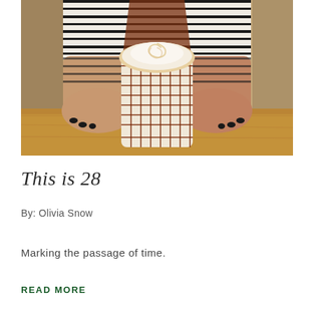[Figure (photo): A person in a black-and-white striped shirt with a brown vest holds a large white mug with a plaid pattern featuring a latte art design on top, resting on a wooden table.]
This is 28
By:  Olivia Snow
Marking the passage of time.
READ MORE